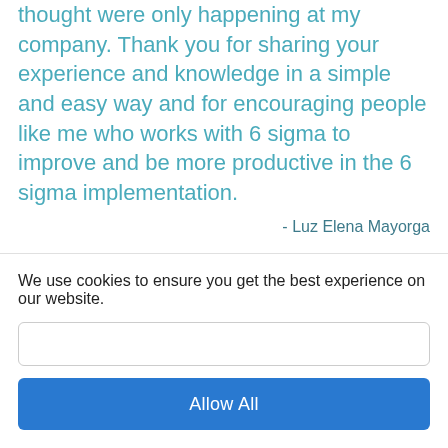thought were only happening at my company. Thank you for sharing your experience and knowledge in a simple and easy way and for encouraging people like me who works with 6 sigma to improve and be more productive in the 6 sigma implementation.
- Luz Elena Mayorga
I just finished taking a 4 week Six
We use cookies to ensure you get the best experience on our website.